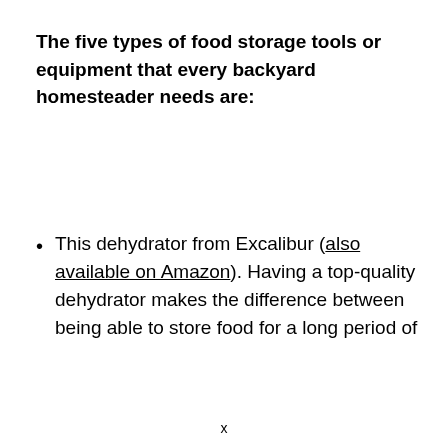The five types of food storage tools or equipment that every backyard homesteader needs are:
This dehydrator from Excalibur (also available on Amazon). Having a top-quality dehydrator makes the difference between being able to store food for a long period of